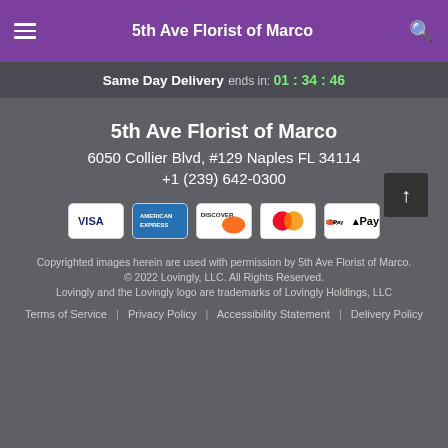5th Ave Florist of Marco
Same Day Delivery ends in: 01 : 34 : 46
5th Ave Florist of Marco
6050 Collier Blvd, #129 Naples FL 34114
+1 (239) 642-0300
[Figure (infographic): Payment method icons: VISA, American Express, Discover, Mastercard, Apple Pay]
Copyrighted images herein are used with permission by 5th Ave Florist of Marco.
© 2022 Lovingly, LLC. All Rights Reserved.
Lovingly and the Lovingly logo are trademarks of Lovingly Holdings, LLC
Terms of Service | Privacy Policy | Accessibility Statement | Delivery Policy